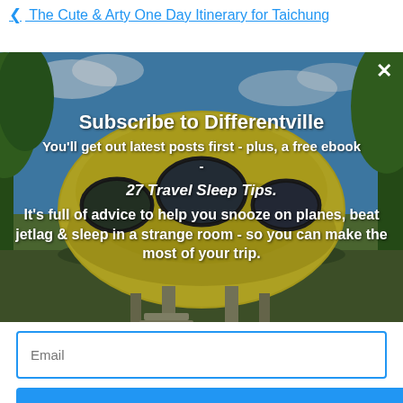< The Cute & Arty One Day Itinerary for Taichung
[Figure (photo): Popup overlay showing a futuristic round building (Futuro house) with trees and blue sky background. Text overlay reads: Subscribe to Differentville. You'll get out latest posts first - plus, a free ebook - 27 Travel Sleep Tips. It's full of advice to help you snooze on planes, beat jetlag & sleep in a strange room - so you can make the most of your trip.]
Subscribe to Differentville
You'll get out latest posts first - plus, a free ebook -
27 Travel Sleep Tips.
It's full of advice to help you snooze on planes, beat jetlag & sleep in a strange room - so you can make the most of your trip.
Email
SUBSCRIBE